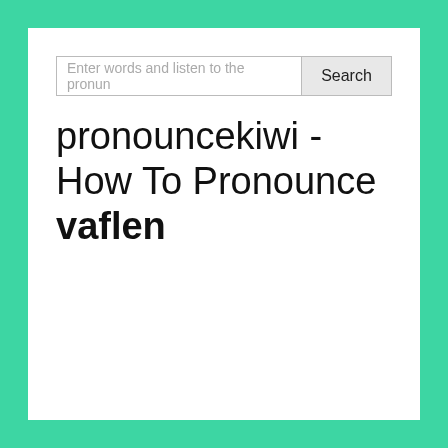[Figure (screenshot): Search input field with placeholder text 'Enter words and listen to the pronun' and a Search button]
pronouncekiwi - How To Pronounce vaflen